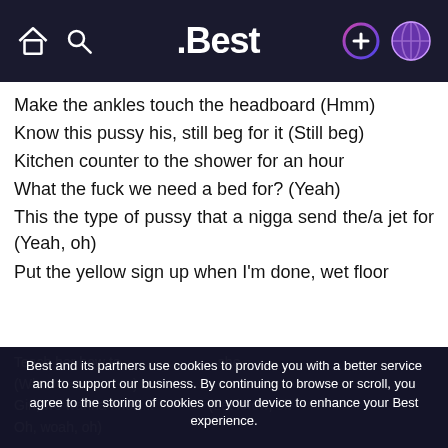.Best
Make the ankles touch the headboard (Hmm)
Know this pussy his, still beg for it (Still beg)
Kitchen counter to the shower for an hour
What the fuck we need a bed for? (Yeah)
This the type of pussy that a nigga send the/a jet for (Yeah, oh)
Put the yellow sign up when I'm done, wet floor
Best and its partners use cookies to provide you with a better service and to support our business. By continuing to browse or scroll, you agree to the storing of cookies on your device to enhance your Best experience.
Accept cookies
Only essentials
Learn more about our privacy policy.